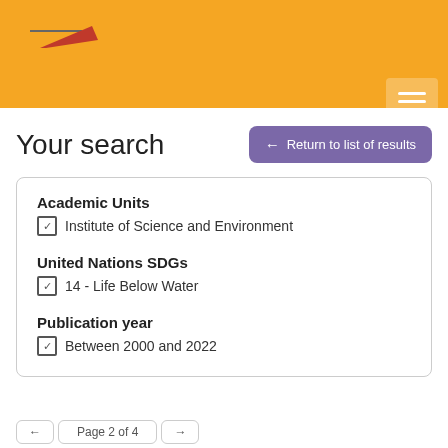University website header with orange background, logo, and hamburger menu
Your search
← Return to list of results
Academic Units
☑ Institute of Science and Environment
United Nations SDGs
☑ 14 - Life Below Water
Publication year
☑ Between 2000 and 2022
Page navigation: previous, Page 2 of 4, next